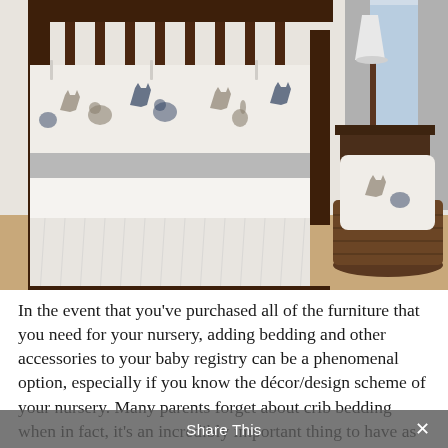[Figure (photo): Baby crib with woodland animal themed bedding set featuring deer, bears, foxes, and rabbits in gray, navy, and tan colors on white fabric. A wicker basket with matching pillow/decor is visible to the right of the crib. A nightstand with a lamp is in the background.]
In the event that you've purchased all of the furniture that you need for your nursery, adding bedding and other accessories to your baby registry can be a phenomenal option, especially if you know the décor/design scheme of your nursery. Many parents forget about crib bedding when in fact, it's an incredibly important thing to have as you can never predict if your baby's clothes going to get dirty throughout the night.